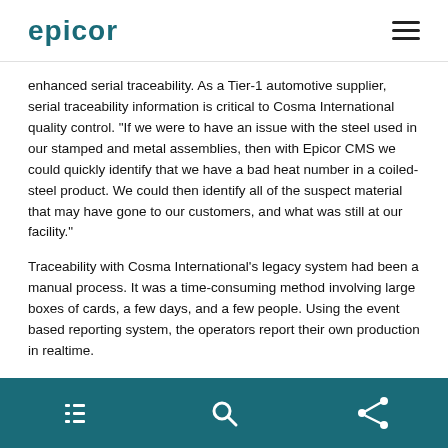EPICOR
enhanced serial traceability. As a Tier-1 automotive supplier, serial traceability information is critical to Cosma International quality control. "If we were to have an issue with the steel used in our stamped and metal assemblies, then with Epicor CMS we could quickly identify that we have a bad heat number in a coiled-steel product. We could then identify all of the suspect material that may have gone to our customers, and what was still at our facility."
Traceability with Cosma International's legacy system had been a manual process. It was a time-consuming method involving large boxes of cards, a few days, and a few people. Using the event based reporting system, the operators report their own production in realtime.
navigation icons: list, search, share